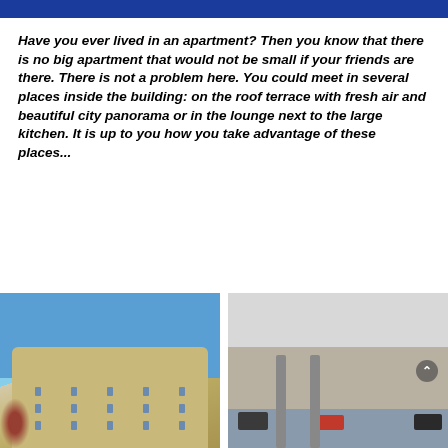Have you ever lived in an apartment? Then you know that there is no big apartment that would not be small if your friends are there. There is not a problem here. You could meet in several places inside the building: on the roof terrace with fresh air and beautiful city panorama or in the lounge next to the large kitchen. It is up to you how you take advantage of these places...
[Figure (photo): Exterior photo of a large apartment building with curved architecture against a blue sky, with red-leafed plants in the foreground.]
[Figure (photo): Interior photo of a building lounge area with dark sofas, a red sofa/ottoman, columns, and carpeted flooring.]